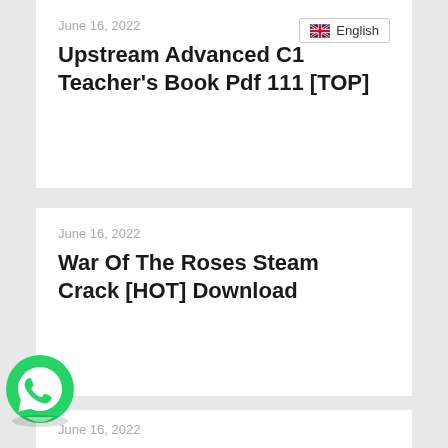June 16, 2022
Upstream Advanced C1 Teacher's Book Pdf 111 [TOP]
English
June 16, 2022
War Of The Roses Steam Crack [HOT] Download
[Figure (logo): WhatsApp green logo icon]
June 16, 2022
LabVIEW Core 2 Course